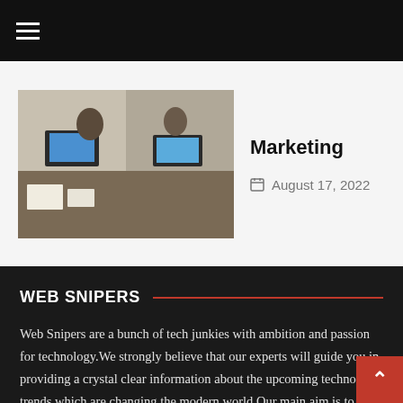≡ (hamburger menu)
Marketing
August 17, 2022
[Figure (photo): Office workspace photo showing people working at desks with laptops]
WEB SNIPERS
Web Snipers are a bunch of tech junkies with ambition and passion for technology.We strongly believe that our experts will guide you in providing a crystal clear information about the upcoming technology trends which are changing the modern world.Our main aim is to provide high quality,relevant content for our avid audience.We spread the tech news to all corners of the world with zeal and perseverance.